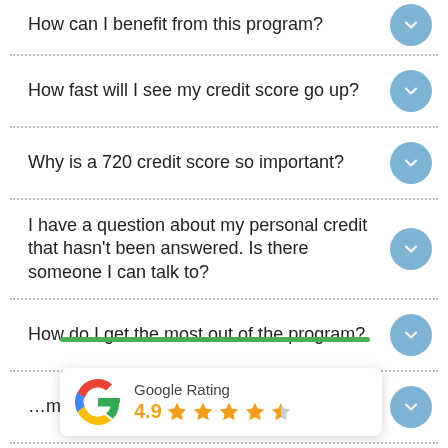How can I benefit from this program?
How fast will I see my credit score go up?
Why is a 720 credit score so important?
I have a question about my personal credit that hasn't been answered. Is there someone I can talk to?
How do I get the most out of the program?
…mplete the
[Figure (infographic): Google Rating badge showing 4.9 stars with 5 star icons (4 filled, 1 half), green bar at top, white card with shadow]